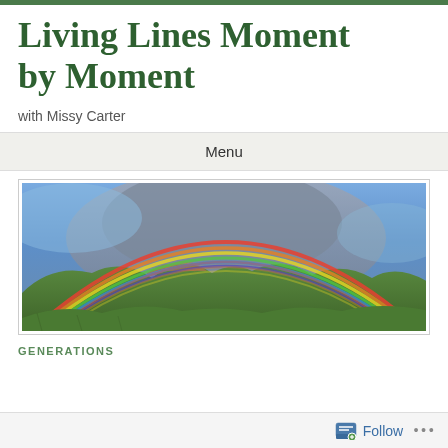Living Lines Moment by Moment
with Missy Carter
Menu
[Figure (photo): Panoramic photograph of a full double rainbow arching over a mountainous landscape with green hills and a dramatic cloudy blue sky.]
GENERATIONS
Follow